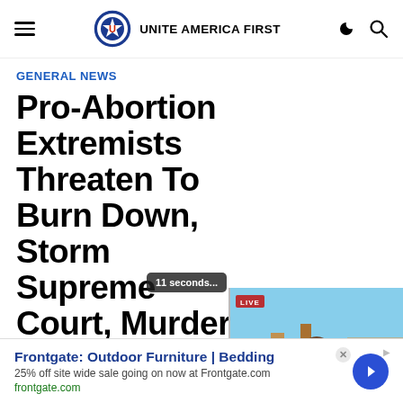Unite America First
GENERAL NEWS
Pro-Abortion Extremists Threaten To Burn Down, Storm Supreme Court, Murder Government Republicans
[Figure (screenshot): Video thumbnail overlay showing a Fox News live broadcast with a female anchor, city skyline background, green play button overlay, and LIVE banner. A '11 seconds...' countdown badge appears to the left of the video.]
Frontgate: Outdoor Furniture | Bedding
25% off site wide sale going on now at Frontgate.com
frontgate.com